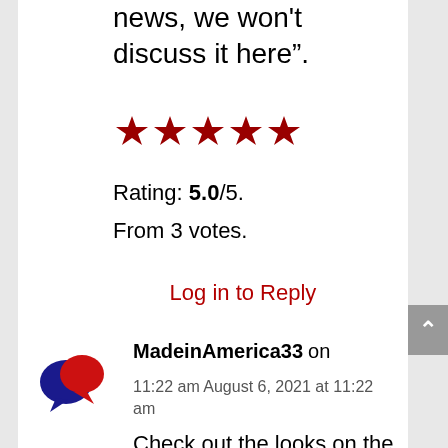news, we won't discuss it here”.
[Figure (other): Five red stars rating display]
Rating: 5.0/5.
From 3 votes.
Log in to Reply
[Figure (illustration): Chat bubble avatar icon: blue and red overlapping speech bubbles]
MadeinAmerica33 on 11:22 am August 6, 2021 at 11:22 am
Check out the looks on the faces of the Bikers in that lead photo of the Bike...